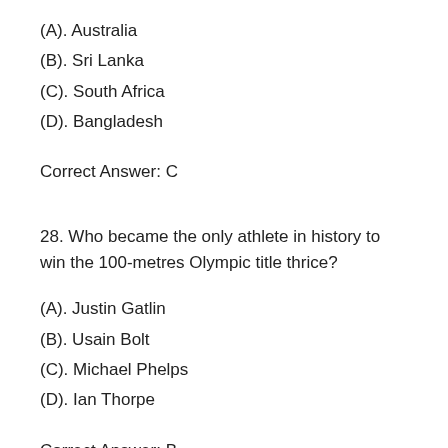(A). Australia
(B). Sri Lanka
(C). South Africa
(D). Bangladesh
Correct Answer: C
28. Who became the only athlete in history to win the 100-metres Olympic title thrice?
(A). Justin Gatlin
(B). Usain Bolt
(C). Michael Phelps
(D). Ian Thorpe
Correct Answer: B